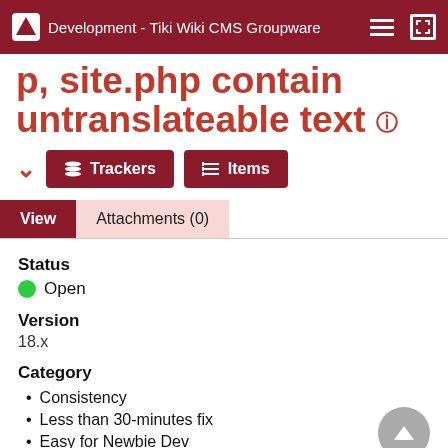Development - Tiki Wiki CMS Groupware
p, site.php contain untranslateable text
Trackers  Items
View  Attachments (0)
Status
Open
Version
18.x
Category
Consistency
Less than 30-minutes fix
Easy for Newbie Dev